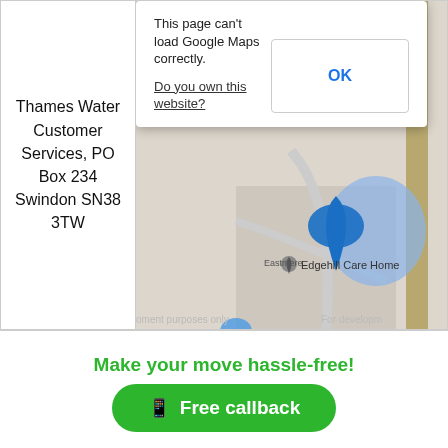Thames Water Customer Services, PO Box 234 Swindon SN38 3TW
[Figure (screenshot): Google Maps screenshot showing a map area with a dialog box overlay reading 'This page can't load Google Maps correctly.' with a 'Do you own this website?' link and an OK button. The map shows Edgehill Care Home area with blue map markers and a road.]
Make your move hassle-free!
Free callback